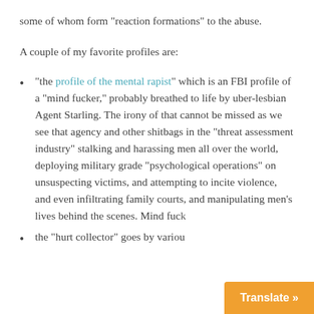some of whom form "reaction formations" to the abuse.
A couple of my favorite profiles are:
"the profile of the mental rapist" which is an FBI profile of a "mind fucker," probably breathed to life by uber-lesbian Agent Starling. The irony of that cannot be missed as we see that agency and other shitbags in the "threat assessment industry" stalking and harassing men all over the world, deploying military grade "psychological operations" on unsuspecting victims, and attempting to incite violence, and even infiltrating family courts, and manipulating men's lives behind the scenes. Mind fuc[...]
the "hurt collector" goes by variou[...]